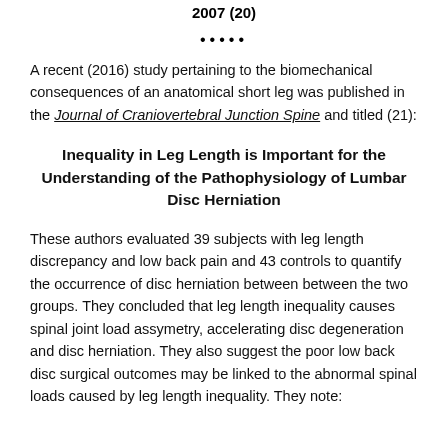2007 (20)
•••••
A recent (2016) study pertaining to the biomechanical consequences of an anatomical short leg was published in the Journal of Craniovertebral Junction Spine and titled (21):
Inequality in Leg Length is Important for the Understanding of the Pathophysiology of Lumbar Disc Herniation
These authors evaluated 39 subjects with leg length discrepancy and low back pain and 43 controls to quantify the occurrence of disc herniation between between the two groups. They concluded that leg length inequality causes spinal joint load assymetry, accelerating disc degeneration and disc herniation. They also suggest the poor low back disc surgical outcomes may be linked to the abnormal spinal loads caused by leg length inequality. They note: